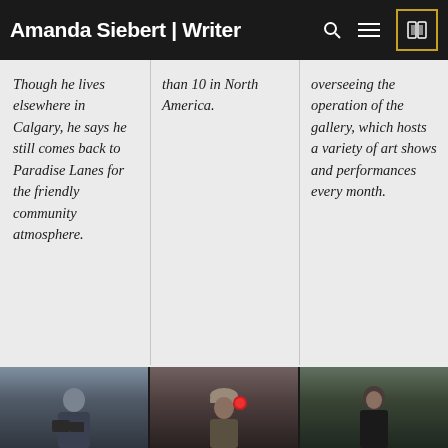Amanda Siebert | Writer
Though he lives elsewhere in Calgary, he says he still comes back to Paradise Lanes for the friendly community atmosphere.
than 10 in North America.
overseeing the operation of the gallery, which hosts a variety of art shows and performances every month.
[Figure (photo): Three photos in a horizontal strip: left shows a man with a camera in winter gear, center shows a person in a cap holding something with a red object visible, right shows a woman in a dark setting.]